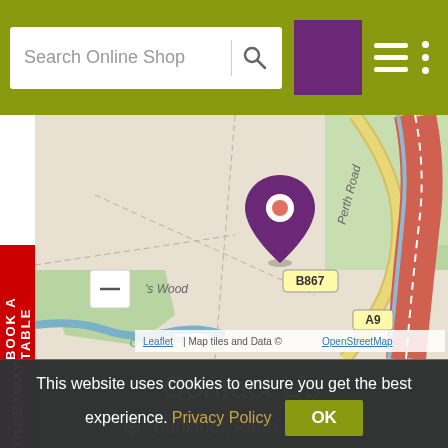Search Online Shop
[Figure (map): OpenStreetMap showing Bankfoot area, Perth Road, B867, A9 roads with a purple location pin marker. Shows green woodland areas, roads including a major red/pink dual carriageway (A9), and a yellow road (B867). Attribution: Leaflet | Map tiles and Data © OpenStreetMap]
BOOK A TABLE
Contact Us
Bankfoot, Perth, PH1 4EB
TAKEAWAY
This website uses cookies to ensure you get the best experience. Privacy Policy  OK